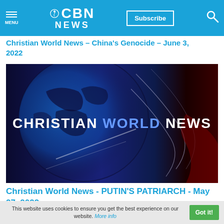CBN NEWS | Subscribe | MENU | Search
Christian World News – China's Genocide – June 3, 2022
[Figure (screenshot): Christian World News TV show title card — dark blue and red globe graphic with text 'CHRISTIAN WORLD NEWS' in white and blue letters on center screen]
Christian World News - PUTIN'S PATRIARCH - May 27, 2022
This website uses cookies to ensure you get the best experience on our website. More info